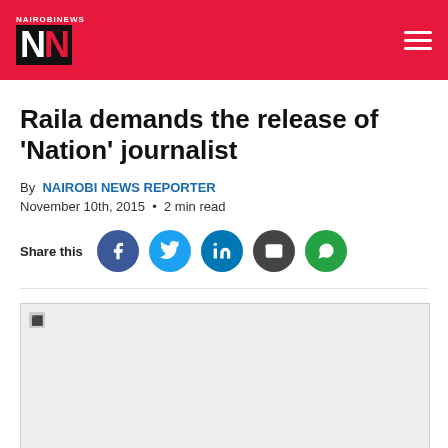Nairobi News
Raila demands the release of ‘Nation’ journalist
By NAIROBI NEWS REPORTER
November 10th, 2015 • 2 min read
Share this
[Figure (photo): Article image placeholder (broken/unloaded image)]